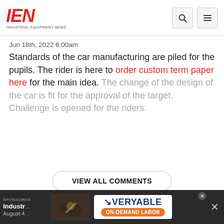IEN Industrial Equipment News
Jun 18th, 2022 6:00am
Standards of the car manufacturing are piled for the pupils. The rider is here to order custom term paper here for the main idea. The change of the design of the car is fit for the approval of the target. Challenge is opened for the riders.
VIEW ALL COMMENTS
Latest in Video
SPONSORED
Industr…
August 4…
[Figure (illustration): VERYABLE ON-DEMAND LABOR advertisement banner with welder image]